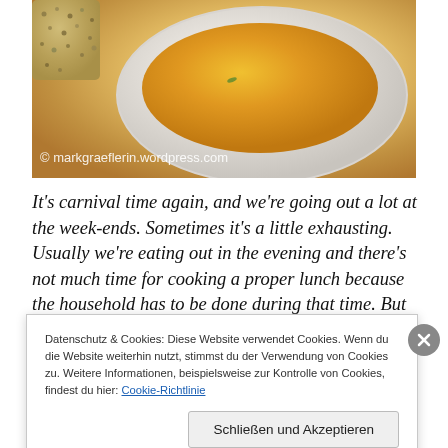[Figure (photo): Photo of a bowl of orange soup (pumpkin/carrot soup) with a seeded cracker/bread beside it, watermarked with '© markgraeflerin.wordpress.com']
It's carnival time again, and we're going out a lot at the week-ends. Sometimes it's a little exhausting. Usually we're eating out in the evening and there's not much time for cooking a proper lunch because the household has to be done during that time. But of course there is enough time for a soup on Saturday, this time I cooked a light soup (only 250 kcal per person).
Datenschutz & Cookies: Diese Website verwendet Cookies. Wenn du die Website weiterhin nutzt, stimmst du der Verwendung von Cookies zu. Weitere Informationen, beispielsweise zur Kontrolle von Cookies, findest du hier: Cookie-Richtlinie
Schließen und Akzeptieren